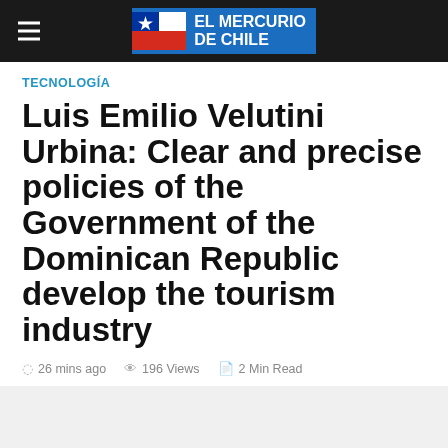El Mercurio de Chile
TECNOLOGÍA
Luis Emilio Velutini Urbina: Clear and precise policies of the Government of the Dominican Republic develop the tourism industry
26 mins ago  196 Views  2 Min Read